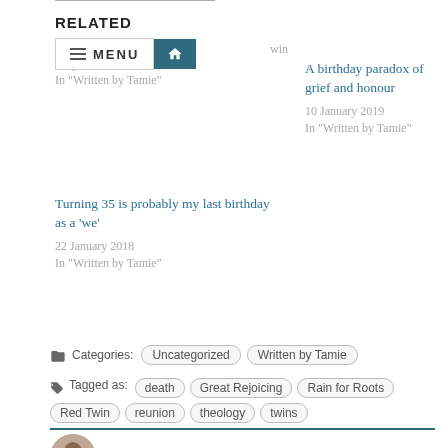RELATED
M ... win
4 April 2018
In 'Written by Tamie'
A birthday paradox of grief and honour
10 January 2019
In 'Written by Tamie'
Turning 35 is probably my last birthday as a 'we'
22 January 2018
In 'Written by Tamie'
Categories: Uncategorized  Written by Tamie
Tagged as: death  Great Rejoicing  Rain for Roots  Red Twin  reunion  theology  twins
[Figure (photo): Small circular avatar photo of a person]